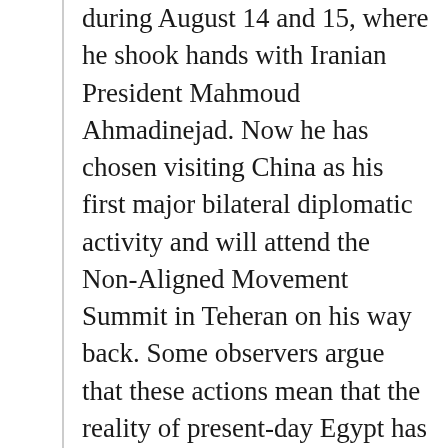during August 14 and 15, where he shook hands with Iranian President Mahmoud Ahmadinejad. Now he has chosen visiting China as his first major bilateral diplomatic activity and will attend the Non-Aligned Movement Summit in Teheran on his way back. Some observers argue that these actions mean that the reality of present-day Egypt has contradicted the high US expectations of the Arab Spring.
“The US has pressed Egyptians to establish a Western-style democratic system since the outbreak of the Arab